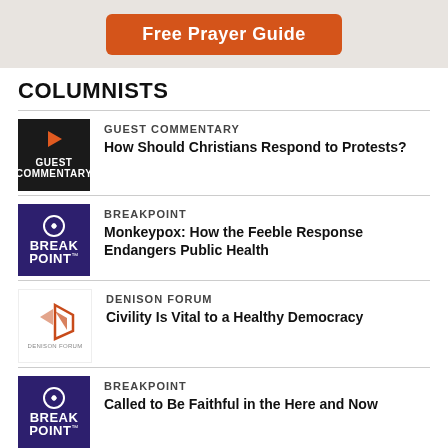[Figure (other): Orange button banner reading 'Free Prayer Guide' on grey background]
COLUMNISTS
[Figure (other): Guest Commentary thumbnail - dark background with play arrow and text]
GUEST COMMENTARY
How Should Christians Respond to Protests?
[Figure (other): BreakPoint thumbnail - purple background with logo]
BREAKPOINT
Monkeypox: How the Feeble Response Endangers Public Health
[Figure (other): Denison Forum thumbnail - white background with logo]
DENISON FORUM
Civility Is Vital to a Healthy Democracy
[Figure (other): BreakPoint thumbnail - purple background with logo]
BREAKPOINT
Called to Be Faithful in the Here and Now
[Figure (other): Denison Forum thumbnail - white background with logo]
DENISON FORUM